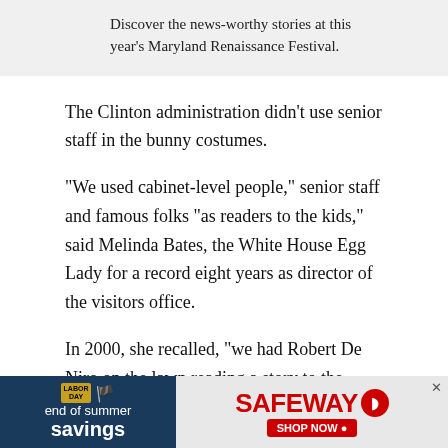Discover the news-worthy stories at this year’s Maryland Renaissance Festival.
The Clinton administration didn’t use senior staff in the bunny costumes.
“We used cabinet-level people,” senior staff and famous folks “as readers to the kids,” said Melinda Bates, the White House Egg Lady for a record eight years as director of the visitors office.
In 2000, she recalled, “we had Robert De Niro on the lawn reading a story to the kids.” De Niro, who often plays some truly scary characters on screen — Taxi
[Figure (infographic): Advertisement banner for Safeway end of summer savings with Labor Day branding]